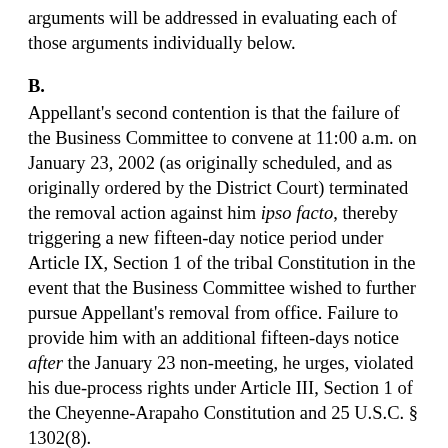arguments will be addressed in evaluating each of those arguments individually below.
B.
Appellant's second contention is that the failure of the Business Committee to convene at 11:00 a.m. on January 23, 2002 (as originally scheduled, and as originally ordered by the District Court) terminated the removal action against him ipso facto, thereby triggering a new fifteen-day notice period under Article IX, Section 1 of the tribal Constitution in the event that the Business Committee wished to further pursue Appellant's removal from office. Failure to provide him with an additional fifteen-days notice after the January 23 non-meeting, he urges, violated his due-process rights under Article III, Section 1 of the Cheyenne-Arapaho Constitution and 25 U.S.C. § 1302(8).
At the outset, we observe that for the reasons described in Part IV-A of this Opinion above, the January 25, 2002 meeting is functionally indistinguishable from the meeting that was ordered to have occurred on January 23; because the inherent remedial powers of a court of